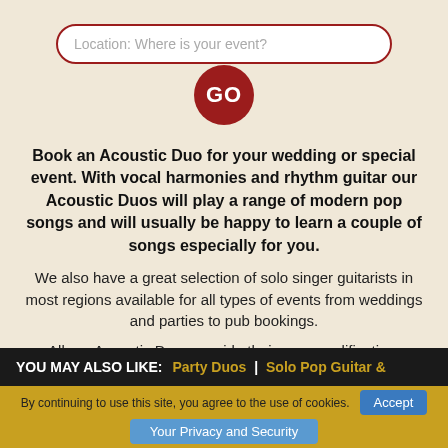[Figure (screenshot): Search input field with placeholder text 'Location: Where is your event?' styled with rounded border in dark red]
[Figure (other): Dark red circular GO button]
Book an Acoustic Duo for your wedding or special event. With vocal harmonies and rhythm guitar our Acoustic Duos will play a range of modern pop songs and will usually be happy to learn a couple of songs especially for you.
We also have a great selection of solo singer guitarists in most regions available for all types of events from weddings and parties to pub bookings.
All our Acoustic Duos provide their own amplification.
YOU MAY ALSO LIKE: Party Duos | Solo Pop Guitar &
By continuing to use this site, you agree to the use of cookies. Accept
Your Privacy and Security